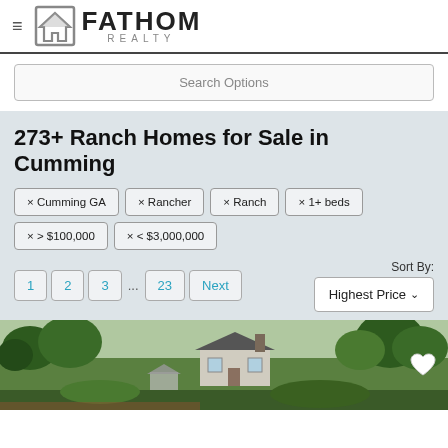FATHOM REALTY
Search Options
273+ Ranch Homes for Sale in Cumming
× Cumming GA
× Rancher
× Ranch
× 1+ beds
× > $100,000
× < $3,000,000
Sort By: Highest Price
[Figure (photo): Exterior photo of a ranch-style home surrounded by trees and green landscaping]